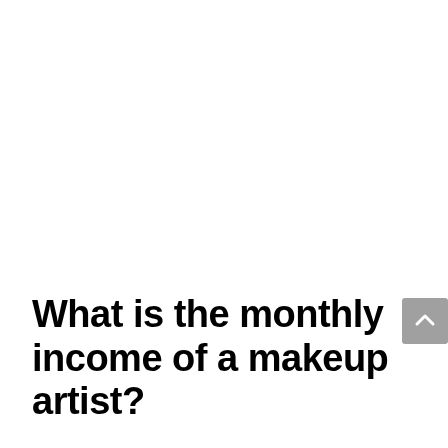What is the monthly income of a makeup artist?